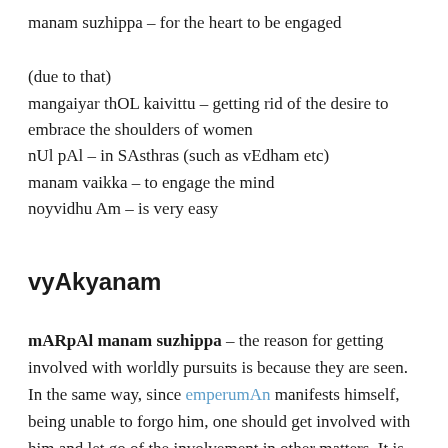manam suzhippa – for the heart to be engaged
(due to that)
mangaiyar thOL kaivittu – getting rid of the desire to embrace the shoulders of women
nUl pAl – in SAsthras (such as vEdham etc)
manam vaikka – to engage the mind
noyvidhu Am – is very easy
vyAkyanam
mARpAl manam suzhippa – the reason for getting involved with worldly pursuits is because they are seen. In the same way, since emperumAn manifests himself, being unable to forgo him, one should get involved with him and let go of the involvement in other matters. It is impossible to get involved with